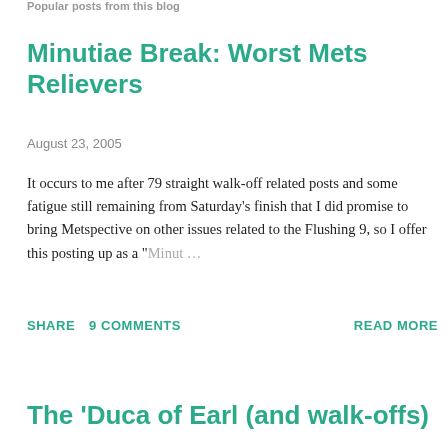Popular posts from this blog
Minutiae Break: Worst Mets Relievers
August 23, 2005
It occurs to me after 79 straight walk-off related posts and some fatigue still remaining from Saturday's finish that I did promise to bring Metspective on other issues related to the Flushing 9, so I offer this posting up as a "Minut …
SHARE   9 COMMENTS   READ MORE
The 'Duca of Earl (and walk-offs)